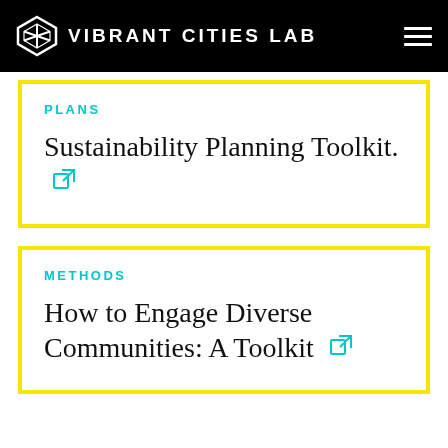VIBRANT CITIES LAB
PLANS
Sustainability Planning Toolkit.
METHODS
How to Engage Diverse Communities: A Toolkit